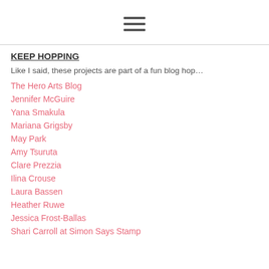[Figure (other): Hamburger menu icon (three horizontal lines)]
KEEP HOPPING
Like I said, these projects are part of a fun blog hop…
The Hero Arts Blog
Jennifer McGuire
Yana Smakula
Mariana Grigsby
May Park
Amy Tsuruta
Clare Prezzia
Ilina Crouse
Laura Bassen
Heather Ruwe
Jessica Frost-Ballas
Shari Carroll at Simon Says Stamp